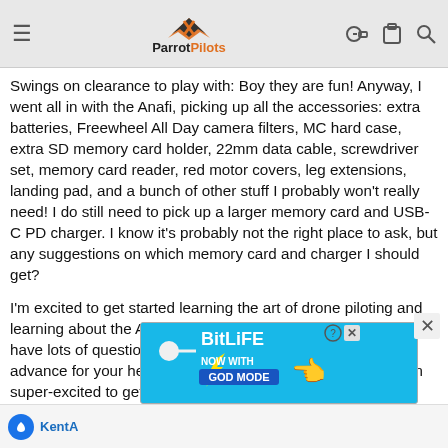ParrotPilots
Swings on clearance to play with: Boy they are fun! Anyway, I went all in with the Anafi, picking up all the accessories: extra batteries, Freewheel All Day camera filters, MC hard case, extra SD memory card holder, 22mm data cable, screwdriver set, memory card reader, red motor covers, leg extensions, landing pad, and a bunch of other stuff I probably won't really need! I do still need to pick up a larger memory card and USB-C PD charger. I know it's probably not the right place to ask, but any suggestions on which memory card and charger I should get?
I'm excited to get started learning the art of drone piloting and learning about the Anafi. I'm glad I found this forum! I'm sure I'll have lots of questions once my Anafi shows up! Thanks in advance for your help! Sorry for the long post but, again, I am super-excited to get started! Any and all suggestions are welcome!
Thanks, Eric
[Figure (screenshot): BitLife advertisement banner with 'Now with GOD MODE' text on blue background]
KentA